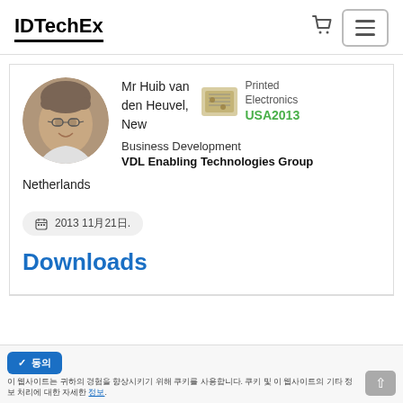IDTechEx
[Figure (photo): Circular profile photo of Mr Huib van den Heuvel, a man with glasses smiling]
Mr Huib van den Heuvel, New Business Development
VDL Enabling Technologies Group
[Figure (logo): Printed Electronics USA 2013 event logo with circuit board graphic]
Netherlands
2013 11月21日.
Downloads
이 웹사이트는 귀하의 경험을 향상시키기 위해 쿠키를 사용합니다. 쿠키 및 이 웹사이트의 기타 정보 처리에 대한 자세한 정보.